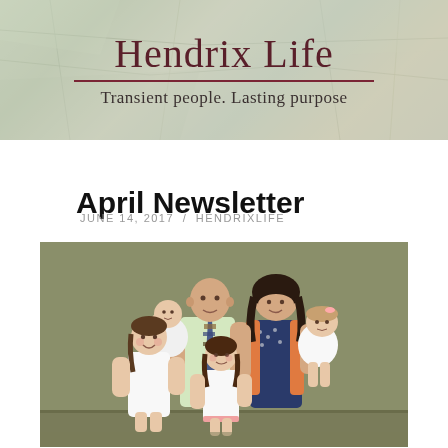Hendrix Life
Transient people. Lasting purpose
April Newsletter
JUNE 14, 2017 / HENDRIXLIFE
[Figure (photo): Family photo showing a man in a light green shirt and tie holding a baby, a woman in a navy patterned dress with orange cardigan holding a toddler, and two young girls standing in front, set against a tan/olive green wall background.]